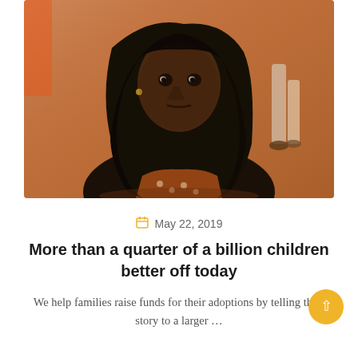[Figure (photo): A young African girl wearing a dark headscarf and patterned dress, looking directly at the camera. The background shows a reddish-brown dirt ground with other people's legs visible in the background.]
May 22, 2019
More than a quarter of a billion children better off today
We help families raise funds for their adoptions by telling their story to a larger …